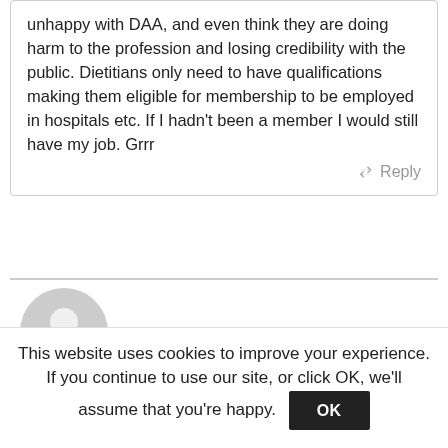unhappy with DAA, and even think they are doing harm to the profession and losing credibility with the public. Dietitians only need to have qualifications making them eligible for membership to be employed in hospitals etc. If I hadn't been a member I would still have my job. Grrr
Reply
[Figure (illustration): Generic user avatar circle with silhouette of a person, light gray color]
Bids
This website uses cookies to improve your experience. If you continue to use our site, or click OK, we'll assume that you're happy.
OK